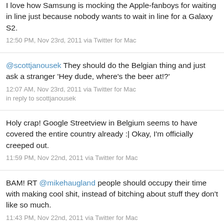I love how Samsung is mocking the Apple-fanboys for waiting in line just because nobody wants to wait in line for a Galaxy S2.
12:50 PM, Nov 23rd, 2011 via Twitter for Mac
@scottjanousek They should do the Belgian thing and just ask a stranger 'Hey dude, where's the beer at!?'
12:07 AM, Nov 23rd, 2011 via Twitter for Mac
in reply to scottjanousek
Holy crap! Google Streetview in Belgium seems to have covered the entire country already :| Okay, I'm officially creeped out.
11:59 PM, Nov 22nd, 2011 via Twitter for Mac
BAM! RT @mikehaugland people should occupy their time with making cool shit, instead of bitching about stuff they don't like so much.
11:43 PM, Nov 22nd, 2011 via Twitter for Mac